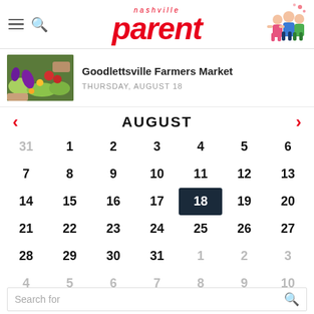nashville parent
Goodlettsville Farmers Market
THURSDAY, AUGUST 18
AUGUST
| Sun | Mon | Tue | Wed | Thu | Fri | Sat |
| --- | --- | --- | --- | --- | --- | --- |
| 31 | 1 | 2 | 3 | 4 | 5 | 6 |
| 7 | 8 | 9 | 10 | 11 | 12 | 13 |
| 14 | 15 | 16 | 17 | 18 | 19 | 20 |
| 21 | 22 | 23 | 24 | 25 | 26 | 27 |
| 28 | 29 | 30 | 31 | 1 | 2 | 3 |
| 4 | 5 | 6 | 7 | 8 | 9 | 10 |
Search for